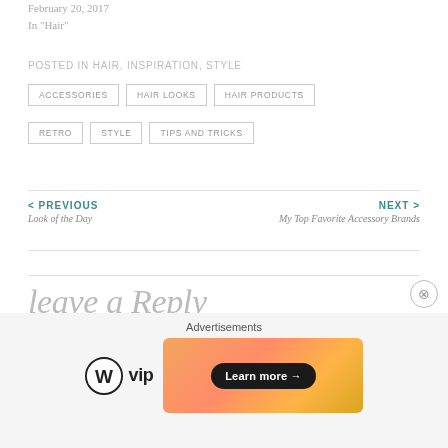February 20, 2017
In "Hair"
POSTED IN HAIR, INSPIRATION, STYLE
ACCESSORIES
HAIR LOOKS
HAIR PRODUCTS
RETRO
STYLE
TIPS AND TRICKS
< PREVIOUS
Look of the Day
NEXT >
My Top Favorite Accessory Brands
leave a Reply
Advertisements
[Figure (logo): WordPress VIP logo with circular WordPress icon and 'vip' text in bold]